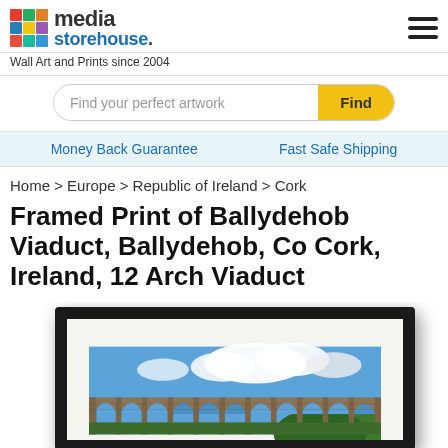[Figure (logo): Media Storehouse logo with colorful grid icon]
Wall Art and Prints since 2004
Find your perfect artwork | Find button
Money Back Guarantee     Fast Safe Shipping
Home > Europe > Republic of Ireland > Cork
Framed Print of Ballydehob Viaduct, Ballydehob, Co Cork, Ireland, 12 Arch Viaduct
[Figure (photo): Framed print showing Ballydehob Viaduct - a 12 arch stone viaduct photographed against a blue sky with white clouds, in a black frame with white mat]